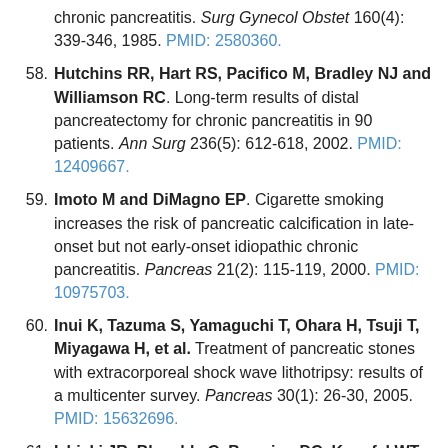chronic pancreatitis. Surg Gynecol Obstet 160(4): 339-346, 1985. PMID: 2580360.
58. Hutchins RR, Hart RS, Pacifico M, Bradley NJ and Williamson RC. Long-term results of distal pancreatectomy for chronic pancreatitis in 90 patients. Ann Surg 236(5): 612-618, 2002. PMID: 12409667.
59. Imoto M and DiMagno EP. Cigarette smoking increases the risk of pancreatic calcification in late-onset but not early-onset idiopathic chronic pancreatitis. Pancreas 21(2): 115-119, 2000. PMID: 10975703.
60. Inui K, Tazuma S, Yamaguchi T, Ohara H, Tsuji T, Miyagawa H, et al. Treatment of pancreatic stones with extracorporeal shock wave lithotripsy: results of a multicenter survey. Pancreas 30(1): 26-30, 2005. PMID: 15632696.
61. Izbicki JR, Bloechle C, Broering DC, Knoefel WT, Kuechler T and Broelsch CE. Extended